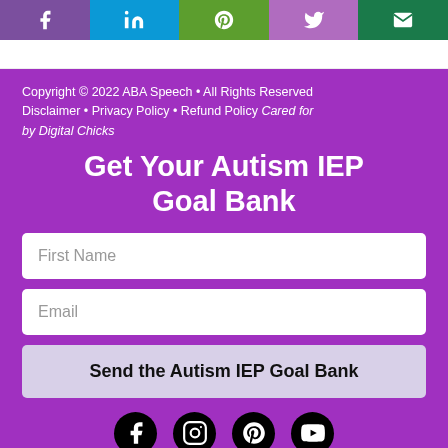Social share icons: Facebook, LinkedIn, Pinterest, Twitter, Email
Copyright © 2022 ABA Speech • All Rights Reserved Disclaimer • Privacy Policy • Refund Policy Cared for by Digital Chicks
Get Your Autism IEP Goal Bank
First Name
Email
Send the Autism IEP Goal Bank
[Figure (other): Social media icons: Facebook, Instagram, Pinterest, YouTube]